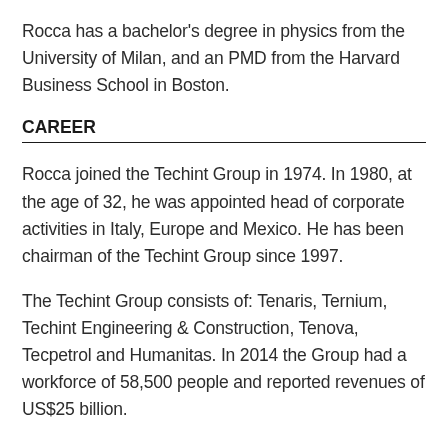Rocca has a bachelor's degree in physics from the University of Milan, and an PMD from the Harvard Business School in Boston.
CAREER
Rocca joined the Techint Group in 1974. In 1980, at the age of 32, he was appointed head of corporate activities in Italy, Europe and Mexico. He has been chairman of the Techint Group since 1997.
The Techint Group consists of: Tenaris, Ternium, Techint Engineering & Construction, Tenova, Tecpetrol and Humanitas. In 2014 the Group had a workforce of 58,500 people and reported revenues of US$25 billion.